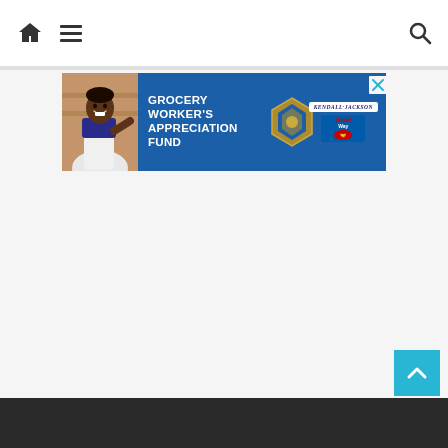Navigation bar with home icon, hamburger menu, and search icon
[Figure (infographic): Advertisement banner for Grocery Worker's Appreciation Fund. Dark blue background with photo of smiling grocery worker on left, bold white text reading GROCERY WORKER'S APPRECIATION FUND, Kendall Jackson wine logo and United Way logo on right, diamond shield emblem in center. Close button (X) in top right corner of ad.]
Dark footer bar